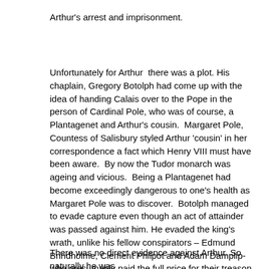Arthur's arrest and imprisonment.
Unfortunately for Arthur  there was a plot. His chaplain, Gregory Botolph had come up with the idea of handing Calais over to the Pope in the person of Cardinal Pole, who was of course, a Plantagenet and Arthur's cousin.  Margaret Pole, Countess of Salisbury styled Arthur 'cousin' in her correspondence a fact which Henry VIII must have been aware.  By now the Tudor monarch was ageing and vicious.  Being a Plantagenet had become exceedingly dangerous to one's health as Margaret Pole was to discover.  Botolph managed to evade capture even though an act of attainder was passed against him. He evaded the king's wrath, unlike his fellow conspirators – Edmund Brindholme, Clement Philpot and Adam Damplip- who presumably paid the full price for their treason – though I need to find confirmation of that.
There was no direct evidence against Arthur. So naturally he was